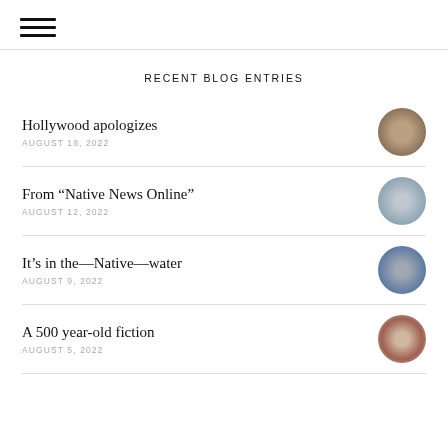[hamburger menu icon]
RECENT BLOG ENTRIES
Hollywood apologizes
AUGUST 18, 2022
From “Native News Online”
AUGUST 12, 2022
It’s in the—Native—water
AUGUST 9, 2022
A 500 year-old fiction
AUGUST 5, 2022